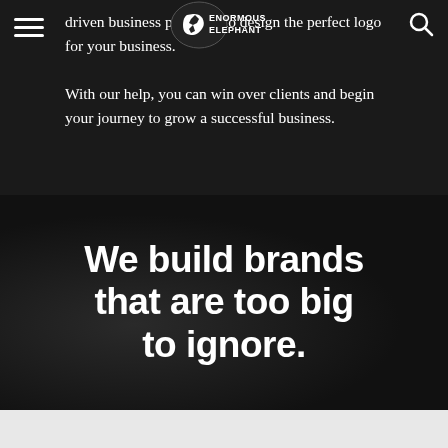[Figure (logo): Enormous Elephant logo — stylized elephant head silhouette with text ENORMOUS ELEPHANT]
driven business practices to design the perfect logo for your business. With our help, you can win over clients and begin your journey to grow a successful business.
We build brands that are too big to ignore.